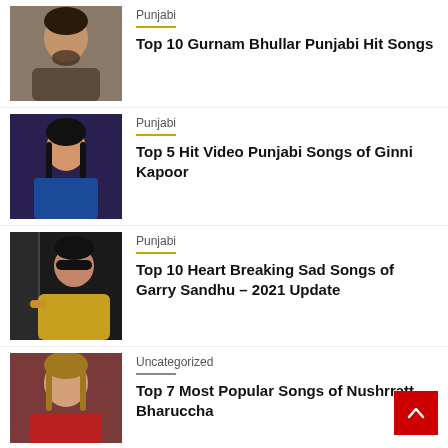[Figure (photo): Thumbnail photo of Gurnam Bhullar, male artist]
Punjabi
Top 10 Gurnam Bhullar Punjabi Hit Songs
[Figure (photo): Thumbnail photo of Ginni Kapoor, female artist]
Punjabi
Top 5 Hit Video Punjabi Songs of Ginni Kapoor
[Figure (photo): Thumbnail photo of Garry Sandhu, male artist in yellow]
Punjabi
Top 10 Heart Breaking Sad Songs of Garry Sandhu – 2021 Update
[Figure (photo): Thumbnail photo of Nushrratt Bharuccha, female actress in red]
Uncategorized
Top 7 Most Popular Songs of Nushrratt Bharuccha